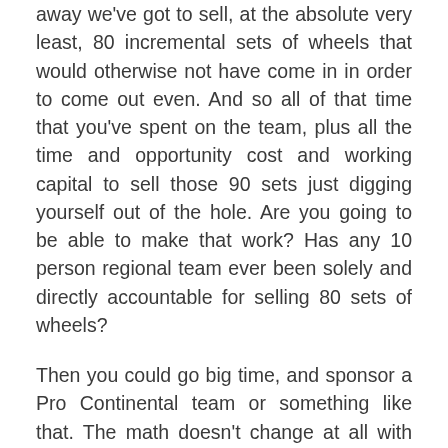away we've got to sell, at the absolute very least, 80 incremental sets of wheels that would otherwise not have come in in order to come out even. And so all of that time that you've spent on the team, plus all the time and opportunity cost and working capital to sell those 90 sets just digging yourself out of the hole. Are you going to be able to make that work? Has any 10 person regional team ever been solely and directly accountable for selling 80 sets of wheels?
Then you could go big time, and sponsor a Pro Continental team or something like that. The math doesn't change at all with these, it just gets a lot bigger. Your media needs to be bigger, your bequest of product needs to be bigger, and of course the time, effort, and cost of digging yourself back into the black gets bigger. If this causes you to tip and really go big, that's great. But if there's one guy who I'd